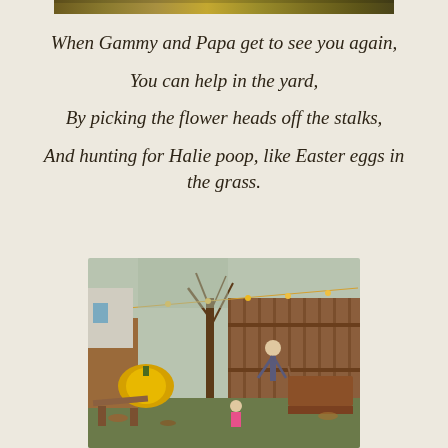[Figure (photo): Top decorative strip — blurred foliage/nature scene in golden/earthy tones]
When Gammy and Papa get to see you again,

You can help in the yard,

By picking the flower heads off the stalks,

And hunting for Halie poop, like Easter eggs in the grass.
[Figure (photo): Outdoor backyard scene in winter with bare trees, string lights, a yellow pumpkin/decoration, a picnic table, a wooden fence, and a person raking leaves while a child in a pink jacket stands nearby.]